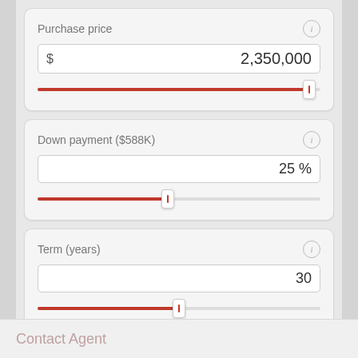Purchase price
$ 2,350,000
Down payment ($588K)
25 %
Term (years)
30
Interest rate
Contact Agent